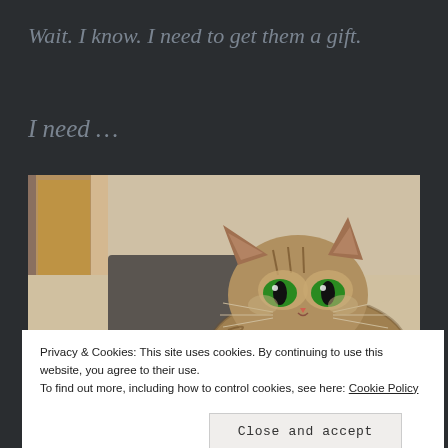Wait.  I know.  I need to get them a gift.
I need …
[Figure (photo): A tabby cat with wide green eyes crouching near a window, looking directly at the camera. The cat has striped brown/grey fur and appears alert or startled.]
Privacy & Cookies: This site uses cookies. By continuing to use this website, you agree to their use.
To find out more, including how to control cookies, see here: Cookie Policy
Close and accept